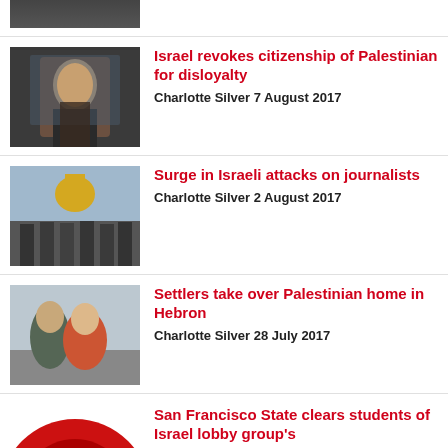[Figure (photo): Partial thumbnail image at top, cropped]
[Figure (photo): Photo of a young Palestinian man in custody with an officer behind him]
Israel revokes citizenship of Palestinian for disloyalty
Charlotte Silver 7 August 2017
[Figure (photo): Photo of Israeli soldiers in front of the Dome of the Rock]
Surge in Israeli attacks on journalists
Charlotte Silver 2 August 2017
[Figure (photo): Photo of Israeli soldiers and civilians in Hebron]
Settlers take over Palestinian home in Hebron
Charlotte Silver 28 July 2017
[Figure (photo): Partial red circular logo/illustration at bottom left]
San Francisco State clears students of Israel lobby group's